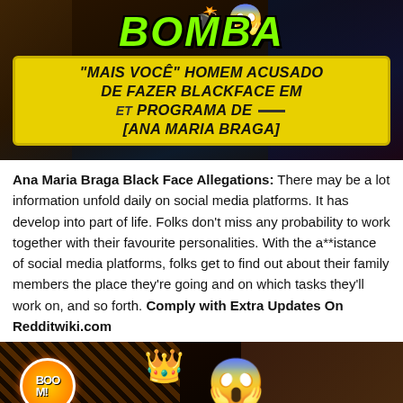[Figure (photo): Clickbait thumbnail image with bright green bold text 'BOMBA' and yellow box text '"MAIS VOCÊ" HOMEM ACUSADO DE FAZER BLACKFACE EM PROGRAMA DE [ANA MARIA BRAGA]' overlaid on a dark background with people in background, bomb emoji and shocked face emoji visible.]
Ana Maria Braga Black Face Allegations: There may be a lot information unfold daily on social media platforms. It has develop into part of life. Folks don't miss any probability to work together with their favourite personalities. With the a**istance of social media platforms, folks get to find out about their family members the place they're going and on which tasks they'll work on, and so forth. Comply with Extra Updates On Redditwiki.com
[Figure (photo): Second clickbait thumbnail showing a man with a crown, a shocked face emoji, and a woman with white hair, with BOOM! graphic element and bomb imagery on dark background.]